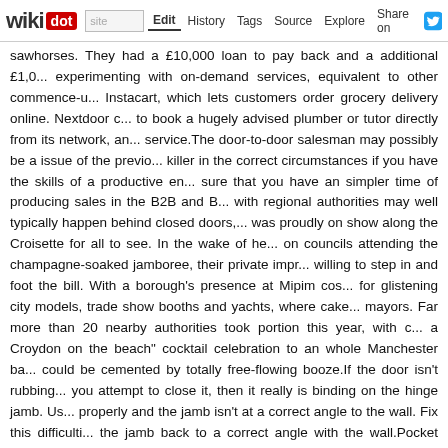wikidot | site | Edit | History | Tags | Source | Explore | Share on Twitter
sawhorses. They had a £10,000 loan to pay back and a additional £1,0... experimenting with on-demand services, equivalent to other commence-u... Instacart, which lets customers order grocery delivery online. Nextdoor c... to book a hugely advised plumber or tutor directly from its network, an... service.The door-to-door salesman may possibly be a issue of the previo... killer in the correct circumstances if you have the skills of a productive en... sure that you have an simpler time of producing sales in the B2B and B... with regional authorities may well typically happen behind closed doors,... was proudly on show along the Croisette for all to see. In the wake of he... on councils attending the champagne-soaked jamboree, their private impr... willing to step in and foot the bill. With a borough's presence at Mipim cos... for glistening city models, trade show booths and yachts, where cake... mayors. Far more than 20 nearby authorities took part this year, with c... a Croydon on the beach" cocktail celebration to an whole Manchester ba... could be cemented by totally free-flowing booze.If the door isn't rubbing... you attempt to close it, then it really is binding on the hinge jamb. Us... properly and the jamb isn't at a correct angle to the wall. Fix this difficulti... the jamb back to a correct angle with the wall.Pocket doors basically call... considering that they stay hidden except when in use, they never eve... customized to match any room's décor. Also in addition to the aesthetic w... solution for locations where wall or floor space is at a premium.You neve... with workers that turn up late for the job, develop a mess and don't pla... dedicated and professional group. As a door and spring repair service in... of garage doors, openers, and springs. We can support you with all o... insulation value (R-value") of your garage door replacements. The large... the insulation value and energy efficiency. If you reside in a tempera... essential concern for you. Even so, if you live in a colder climate, or have... plan to heat or cool your garage since you are using it for purposes o... laundry area), the garage door's R-worth is absolutely anything to thi...